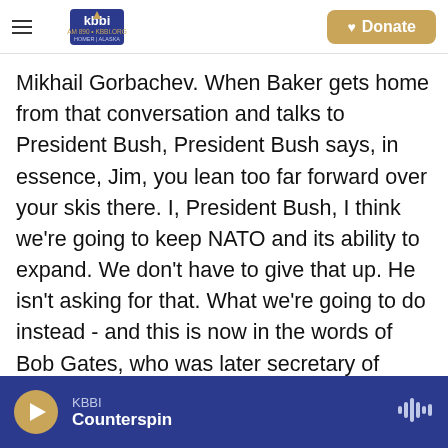KBBI AM 890 KBBI.ORG HOMER ALASKA | Donate
Mikhail Gorbachev. When Baker gets home from that conversation and talks to President Bush, President Bush says, in essence, Jim, you lean too far forward over your skis there. I, President Bush, I think we're going to keep NATO and its ability to expand. We don't have to give that up. He isn't asking for that. What we're going to do instead - and this is now in the words of Bob Gates, who was later secretary of defense, but was the deputy national security adviser then - Bob Gates said, our strategy is going to be, quote, "bribing the Soviets out."
KBBI | Counterspin